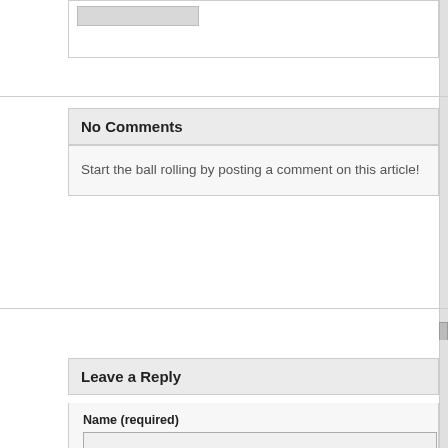No Comments
Start the ball rolling by posting a comment on this article!
Leave a Reply
Name (required)
Mail (will not be published) (required)
Website
XHTML: You can use these tags: <a href="" title=""> <abbr title= <blockquote cite=""> <cite> <code> <del datetime=""> <em> <i> <strong>